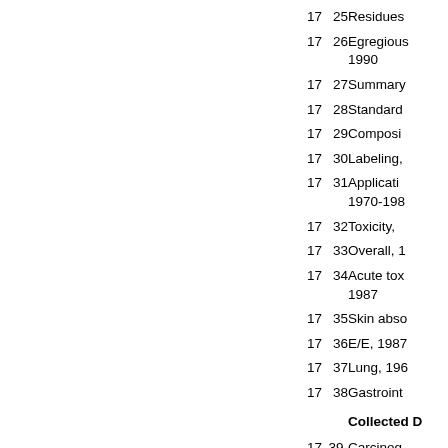| Ch | Fig | Description |
| --- | --- | --- |
| 17 | 25 | Residues |
| 17 | 26 | Egregious... 1990 |
| 17 | 27 | Summary... |
| 17 | 28 | Standard... |
| 17 | 29 | Composi... |
| 17 | 30 | Labeling,... |
| 17 | 31 | Applicati... 1970-198... |
| 17 | 32 | Toxicity,... |
| 17 | 33 | Overall, 1... |
| 17 | 34 | Acute tox... 1987 |
| 17 | 35 | Skin abso... |
| 17 | 36 | E/E, 1987... |
| 17 | 37 | Lung, 196... |
| 17 | 38 | Gastroint... |
|  |  | Collected D... |
| 17 | 39- | Carcinog... |